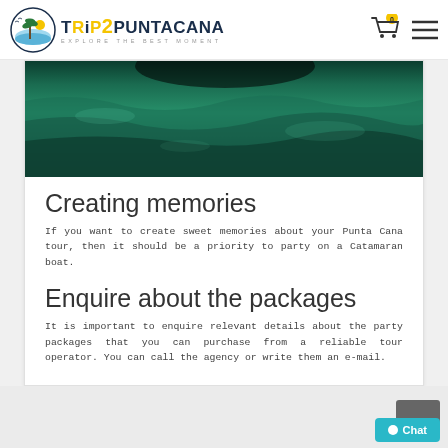TRIP2PUNTACANA — EXPLORE THE BEST MOMENT
[Figure (photo): Aerial or underwater view of teal/green ocean water with a dark circular object visible at the top edge]
Creating memories
If you want to create sweet memories about your Punta Cana tour, then it should be a priority to party on a Catamaran boat.
Enquire about the packages
It is important to enquire relevant details about the party packages that you can purchase from a reliable tour operator. You can call the agency or write them an e-mail.